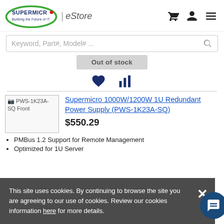Supermicro | eStore
Keyword, Part#, Model# ...
Out of stock
[Figure (screenshot): PWS-1K23A-SQ Front product image placeholder]
Supermicro 1000W/1200W 1U Redundant Power Supply (PWS-1K23A-SQ)
$550.29
PMBus 1.2 Support for Remote Management
Optimized for 1U Server
This site uses cookies. By continuing to browse the site you are agreeing to our use of cookies. Review our cookies information here for more details.